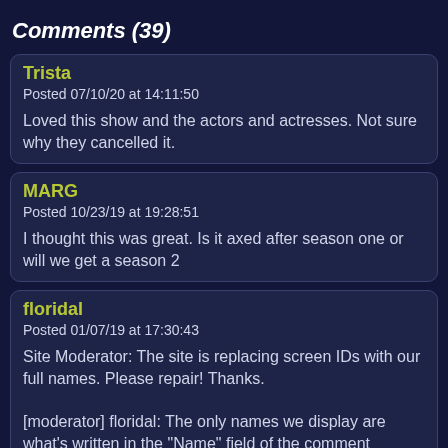Comments (39)
Trista
Posted 07/10/20 at 14:11:50

Loved this show and the actors and actresses. Not sure why they cancelled it.
MARG
Posted 10/23/19 at 19:28:51

I thought this was great. Is it axed after season one or will we get a season 2
floridal
Posted 01/07/19 at 17:30:43

Site Moderator: The site is replacing screen IDs with our full names. Please repair! Thanks.

[moderator] floridal: The only names we display are what's written in the "Name" field of the comment section. We don't use screen IDs.